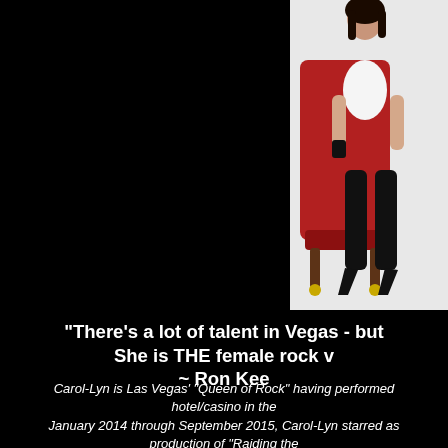[Figure (photo): A woman in a white outfit and black thigh-high boots sitting in a red chair against a white background]
"There's a lot of talent in Vegas - but She is THE female rock v~ Ron Kee
Carol-Lyn is Las Vegas' "Queen of Rock" having performed hotel/casino in the
January 2014 through September 2015, Carol-Lyn starred as production of "Raiding the